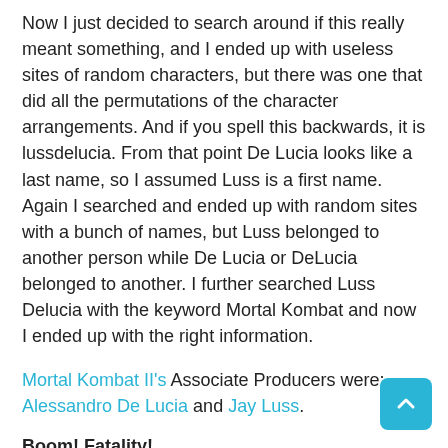Now I just decided to search around if this really meant something, and I ended up with useless sites of random characters, but there was one that did all the permutations of the character arrangements. And if you spell this backwards, it is lussdelucia. From that point De Lucia looks like a last name, so I assumed Luss is a first name. Again I searched and ended up with random sites with a bunch of names, but Luss belonged to another person while De Lucia or DeLucia belonged to another. I further searched Luss Delucia with the keyword Mortal Kombat and now I ended up with the right information.
Mortal Kombat II's Associate Producers were: Alessandro De Lucia and Jay Luss.
Boom! Fatality!
If you still want to play this game on the PC,  and try the cheat codes, you can still buy this on Amazon.